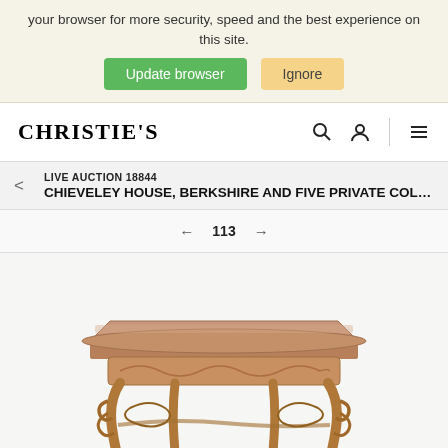your browser for more security, speed and the best experience on this site.
Update browser   Ignore
CHRISTIE'S
LIVE AUCTION 18844
CHIEVELEY HOUSE, BERKSHIRE AND FIVE PRIVATE COLLECTIONS
← 113 →
[Figure (photo): Antique gilded carved wood side table with ornate scrollwork legs and decorative apron, viewed from a slightly elevated angle against a white background.]